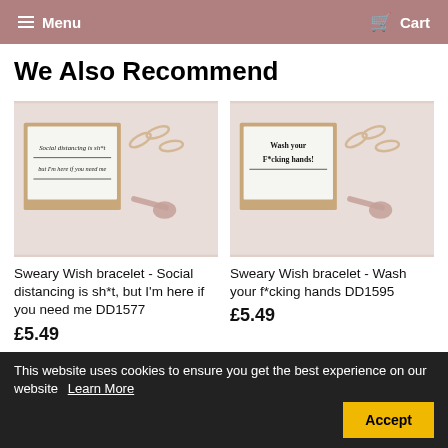Menu   Cart
We Also Recommend
[Figure (photo): Product photo of a wish bracelet card reading 'Social distancing is sh*t, but I'm here if you need me' with paper clips and a spoon]
Sweary Wish bracelet - Social distancing is sh*t, but I'm here if you need me DD1577
£5.49
[Figure (photo): Product photo of a wish bracelet card reading 'Wash your f*cking hands!' with paper clips and a spoon]
Sweary Wish bracelet - Wash your f*cking hands DD1595
£5.49
This website uses cookies to ensure you get the best experience on our website   Learn More   Accept